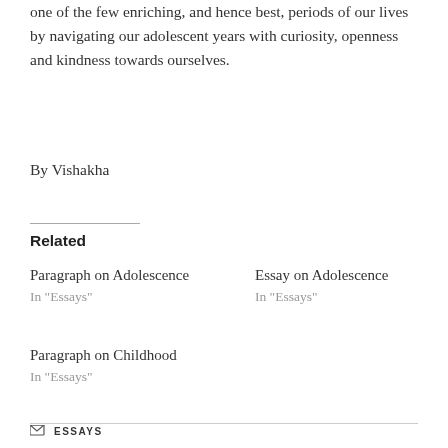one of the few enriching, and hence best, periods of our lives by navigating our adolescent years with curiosity, openness and kindness towards ourselves.
By Vishakha
Related
Paragraph on Adolescence
In “Essays”
Essay on Adolescence
In “Essays”
Paragraph on Childhood
In “Essays”
ESSAYS